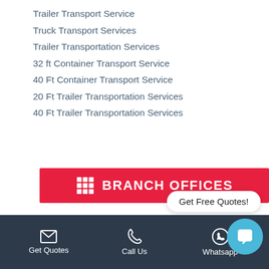Trailer Transport Service
Truck Transport Services
Trailer Transportation Services
32 ft Container Transport Service
40 Ft Container Transport Service
20 Ft Trailer Transportation Services
40 Ft Trailer Transportation Services
BRANCH OFFICES
Get Free Quotes!
Custom clearance agents in varansi
Get Quotes   Call Us   Whatsapp